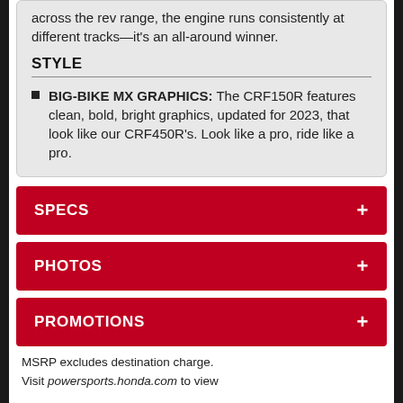across the rev range, the engine runs consistently at different tracks—it's an all-around winner.
STYLE
BIG-BIKE MX GRAPHICS: The CRF150R features clean, bold, bright graphics, updated for 2023, that look like our CRF450R's. Look like a pro, ride like a pro.
SPECS +
PHOTOS +
PROMOTIONS +
MSRP excludes destination charge. Visit powersports.honda.com to view